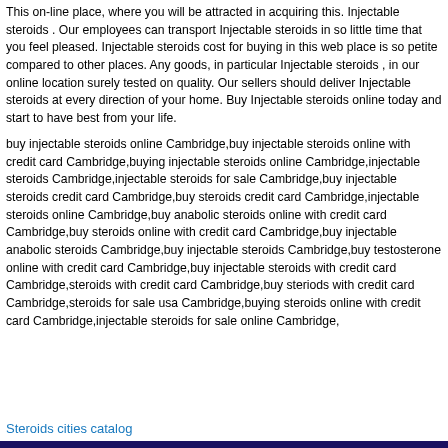This on-line place, where you will be attracted in acquiring this. Injectable steroids . Our employees can transport Injectable steroids in so little time that you feel pleased. Injectable steroids cost for buying in this web place is so petite compared to other places. Any goods, in particular Injectable steroids , in our online location surely tested on quality. Our sellers should deliver Injectable steroids at every direction of your home. Buy Injectable steroids online today and start to have best from your life.
buy injectable steroids online Cambridge,buy injectable steroids online with credit card Cambridge,buying injectable steroids online Cambridge,injectable steroids Cambridge,injectable steroids for sale Cambridge,buy injectable steroids credit card Cambridge,buy steroids credit card Cambridge,injectable steroids online Cambridge,buy anabolic steroids online with credit card Cambridge,buy steroids online with credit card Cambridge,buy injectable anabolic steroids Cambridge,buy injectable steroids Cambridge,buy testosterone online with credit card Cambridge,buy injectable steroids with credit card Cambridge,steroids with credit card Cambridge,buy steriods with credit card Cambridge,steroids for sale usa Cambridge,buying steroids online with credit card Cambridge,injectable steroids for sale online Cambridge,
Steroids cities catalog